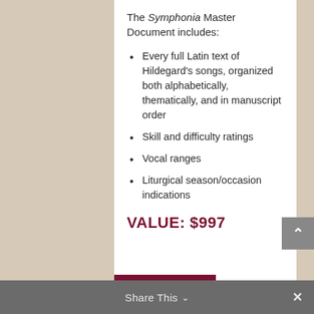The Symphonia Master Document includes:
Every full Latin text of Hildegard's songs, organized both alphabetically, thematically, and in manuscript order
Skill and difficulty ratings
Vocal ranges
Liturgical season/occasion indications
VALUE: $997
Share This  ∨